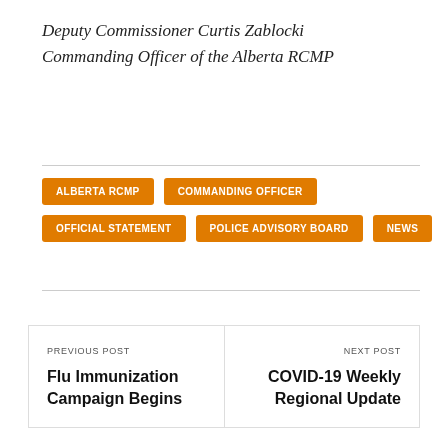Deputy Commissioner Curtis Zablocki
Commanding Officer of the Alberta RCMP
ALBERTA RCMP
COMMANDING OFFICER
OFFICIAL STATEMENT
POLICE ADVISORY BOARD
NEWS
PREVIOUS POST
Flu Immunization Campaign Begins
NEXT POST
COVID-19 Weekly Regional Update